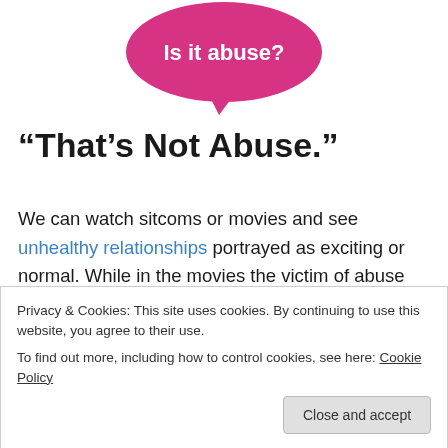[Figure (illustration): Pink speech bubble graphic with white text 'Is it abuse?' centered inside]
“That’s Not Abuse.”
We can watch sitcoms or movies and see unhealthy relationships portrayed as exciting or normal. While in the movies the victim of abuse might be rescued by an observant character or take matters into their own hands and kill the abuser in self defence, I would not recommend
Privacy & Cookies: This site uses cookies. By continuing to use this website, you agree to their use.
To find out more, including how to control cookies, see here: Cookie Policy